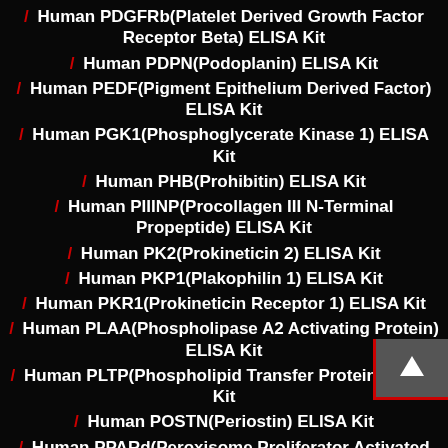/ Human PDGFRb(Platelet Derived Growth Factor Receptor Beta) ELISA Kit
/ Human PDPN(Podoplanin) ELISA Kit
/ Human PEDF(Pigment Epithelium Derived Factor) ELISA Kit
/ Human PGK1(Phosphoglycerate Kinase 1) ELISA Kit
/ Human PHB(Prohibitin) ELISA Kit
/ Human PIIINP(Procollagen III N-Terminal Propeptide) ELISA Kit
/ Human PK2(Prokineticin 2) ELISA Kit
/ Human PKP1(Plakophilin 1) ELISA Kit
/ Human PKR1(Prokineticin Receptor 1) ELISA Kit
/ Human PLAA(Phospholipase A2 Activating Protein) ELISA Kit
/ Human PLTP(Phospholipid Transfer Protein) ELISA Kit
/ Human POSTN(Periostin) ELISA Kit
/ Human PPARd(Peroxisome Proliferator Activated